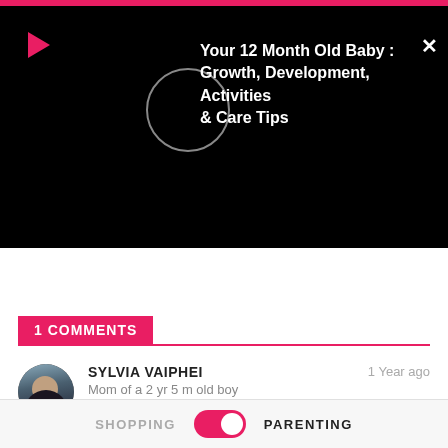[Figure (screenshot): Video overlay with black background, pink play button, circle placeholder, and bold white title text: Your 12 Month Old Baby : Growth, Development, Activities & Care Tips]
Post Comment
1 COMMENTS
[Figure (photo): Circular avatar photo of Sylvia Vaiphei]
SYLVIA VAIPHEI
Mom of a 2 yr 5 m old boy
1 Year ago
what is switching hand? please elaborate
Like   Reply   Share
SHOPPING   PARENTING